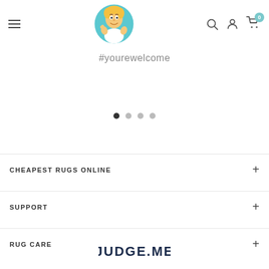[Figure (screenshot): Website header with hamburger menu, cartoon mascot logo (man with thumbs up in a circle), search icon, user account icon, and shopping cart icon with badge showing 0]
#yourewelcome
[Figure (other): Carousel slider navigation dots: 4 dots, first filled/dark, others lighter]
CHEAPEST RUGS ONLINE
SUPPORT
RUG CARE
[Figure (logo): JUDGE.ME logo text in dark navy arc/curved arrangement at bottom of page]